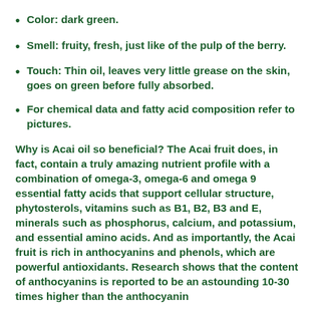Color: dark green.
Smell: fruity, fresh, just like of the pulp of the berry.
Touch: Thin oil, leaves very little grease on the skin, goes on green before fully absorbed.
For chemical data and fatty acid composition refer to pictures.
Why is Acai oil so beneficial? The Acai fruit does, in fact, contain a truly amazing nutrient profile with a combination of omega-3, omega-6 and omega 9 essential fatty acids that support cellular structure, phytosterols, vitamins such as B1, B2, B3 and E, minerals such as phosphorus, calcium, and potassium, and essential amino acids. And as importantly, the Acai fruit is rich in anthocyanins and phenols, which are powerful antioxidants. Research shows that the content of anthocyanins is reported to be an astounding 10-30 times higher than the anthocyanin